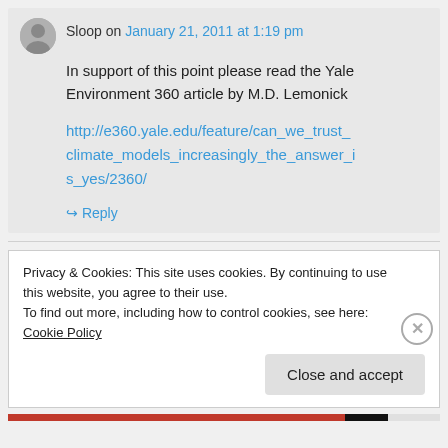Sloop on January 21, 2011 at 1:19 pm
In support of this point please read the Yale Environment 360 article by M.D. Lemonick
http://e360.yale.edu/feature/can_we_trust_climate_models_increasingly_the_answer_is_yes/2360/
↳ Reply
Privacy & Cookies: This site uses cookies. By continuing to use this website, you agree to their use.
To find out more, including how to control cookies, see here: Cookie Policy
Close and accept